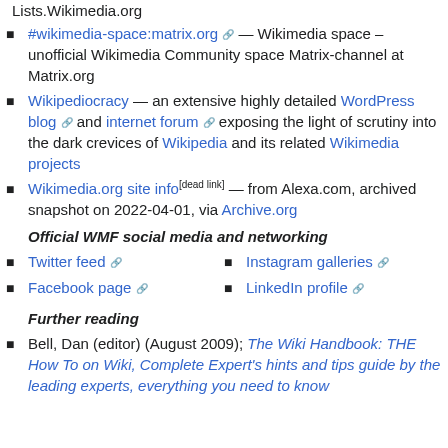Lists.Wikimedia.org
#wikimedia-space:matrix.org — Wikimedia space – unofficial Wikimedia Community space Matrix-channel at Matrix.org
Wikipediocracy — an extensive highly detailed WordPress blog and internet forum exposing the light of scrutiny into the dark crevices of Wikipedia and its related Wikimedia projects
Wikimedia.org site info[dead link] — from Alexa.com, archived snapshot on 2022-04-01, via Archive.org
Official WMF social media and networking
Twitter feed
Instagram galleries
Facebook page
LinkedIn profile
Further reading
Bell, Dan (editor) (August 2009); The Wiki Handbook: THE How To on Wiki, Complete Expert's hints and tips guide by the leading experts, everything you need to know about Wikis [8] — Emereo Publishing; ISBN 1742441831